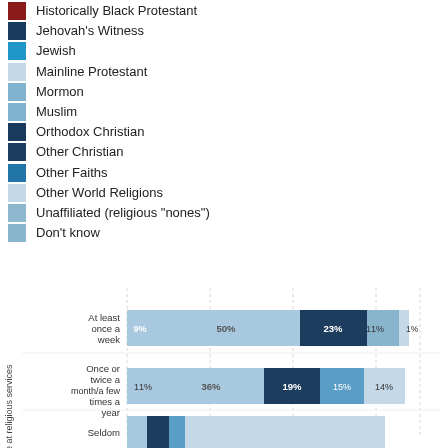Historically Black Protestant
Jehovah's Witness
Jewish
Mainline Protestant
Mormon
Muslim
Orthodox Christian
Other Christian
Other Faiths
Other World Religions
Unaffiliated (religious "nones")
Don't know
[Figure (stacked-bar-chart): Attendance at religious services]